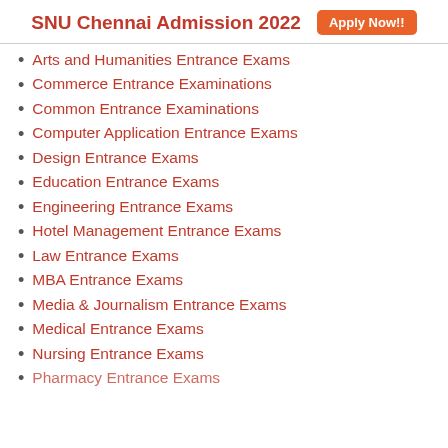SNU Chennai Admission 2022  Apply Now!!
Arts and Humanities Entrance Exams
Commerce Entrance Examinations
Common Entrance Examinations
Computer Application Entrance Exams
Design Entrance Exams
Education Entrance Exams
Engineering Entrance Exams
Hotel Management Entrance Exams
Law Entrance Exams
MBA Entrance Exams
Media & Journalism Entrance Exams
Medical Entrance Exams
Nursing Entrance Exams
Pharmacy Entrance Exams